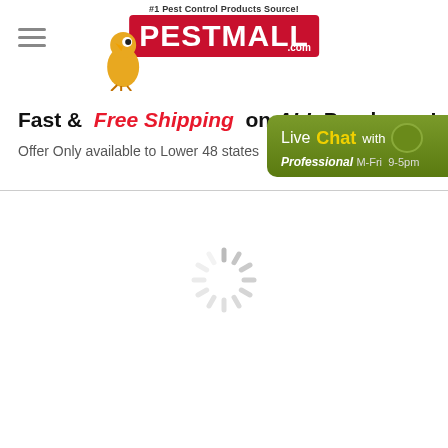[Figure (logo): PestMall.com logo with yellow bird mascot and red background, tagline '#1 Pest Control Products Source!']
Fast & Free Shipping on ALL Purchases!
Offer Only available to Lower 48 states
[Figure (illustration): Live Chat with Professional button, green rounded rectangle, M-Fri 9-5pm]
[Figure (illustration): Loading spinner (circular loading indicator) in gray]